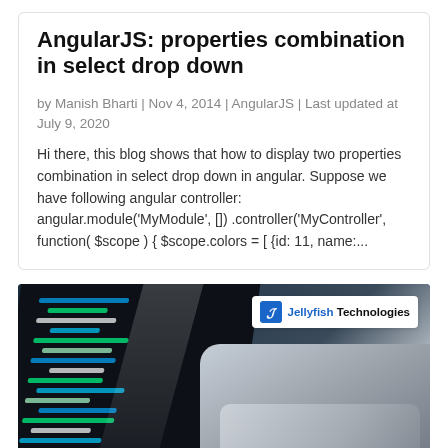AngularJS: properties combination in select drop down
by Manish Bharti | Nov 4, 2014 | AngularJS | Last updated at July 9, 2020
Hi there, this blog shows that how to display two properties combination in select drop down in angular. Suppose we have following angular controller: angular.module('MyModule', []) .controller('MyController', function( $scope ) { $scope.colors = [ {id: 11, name:...
[Figure (photo): Photo of a person's hands typing on a laptop keyboard with code visible on the monitor screen. A Jellyfish Technologies logo watermark is shown in the top-right corner of the image.]